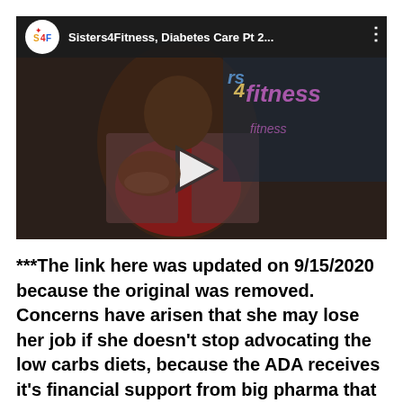[Figure (screenshot): YouTube video thumbnail showing a person in a plaid blazer and red shirt gesturing, with a 'Sisters4Fitness' logo watermark. Video title reads 'Sisters4Fitness, Diabetes Care Pt 2...' with a play button overlay.]
***The link here was updated on 9/15/2020 because the original was removed. Concerns have arisen that she may lose her job if she doesn't stop advocating the low carbs diets, because the ADA receives it's financial support from big pharma that sells insulin to those with T2D...